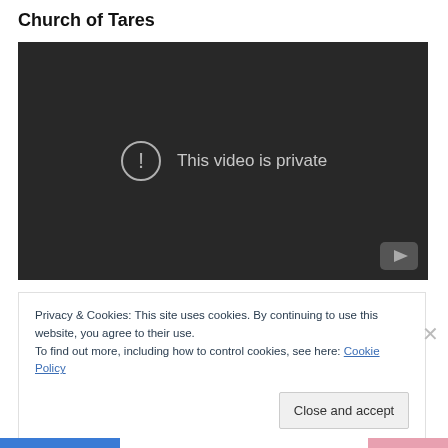Church of Tares
[Figure (screenshot): Embedded YouTube video player showing 'This video is private' message on a dark background with a YouTube logo button in the lower right corner.]
Privacy & Cookies: This site uses cookies. By continuing to use this website, you agree to their use.
To find out more, including how to control cookies, see here: Cookie Policy

Close and accept